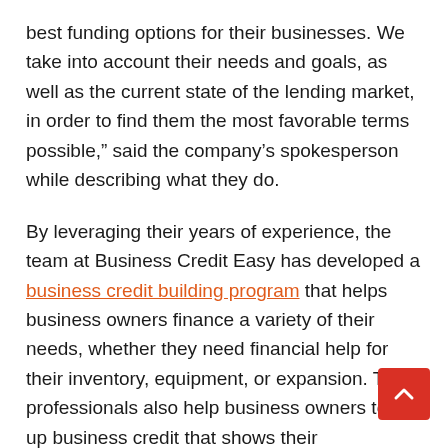best funding options for their businesses. We take into account their needs and goals, as well as the current state of the lending market, in order to find them the most favorable terms possible," said the company's spokesperson while describing what they do.
By leveraging their years of experience, the team at Business Credit Easy has developed a business credit building program that helps business owners finance a variety of their needs, whether they need financial help for their inventory, equipment, or expansion. The professionals also help business owners to set up business credit that shows their creditworthiness to banks, vendors, credit card companies, partners,